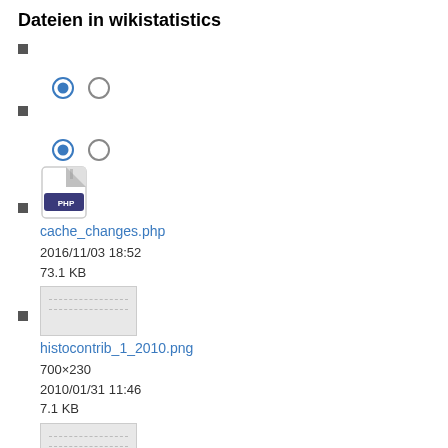Dateien in wikistatistics
(radio buttons row 1)
(radio buttons row 2)
cache_changes.php
2016/11/03 18:52
73.1 KB
histocontrib_1_2010.png
700×230
2010/01/31 11:46
7.1 KB
histocontrib_1_2011.png
700×230
2011/01/31 09:47
7.1 KB